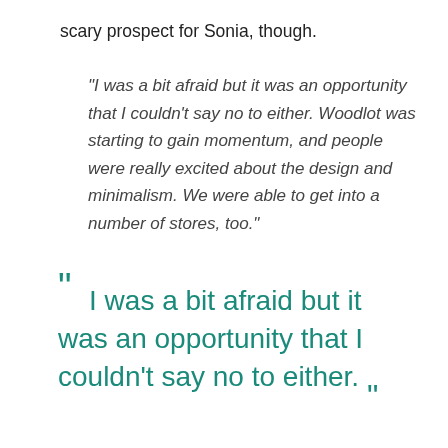scary prospect for Sonia, though.
"I was a bit afraid but it was an opportunity that I couldn't say no to either. Woodlot was starting to gain momentum, and people were really excited about the design and minimalism. We were able to get into a number of stores, too."
“ I was a bit afraid but it was an opportunity that I couldn't say no to either. „